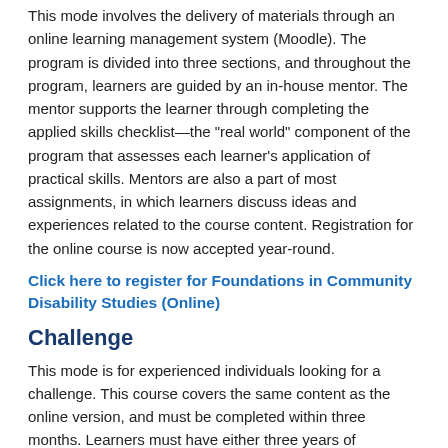This mode involves the delivery of materials through an online learning management system (Moodle). The program is divided into three sections, and throughout the program, learners are guided by an in-house mentor. The mentor supports the learner through completing the applied skills checklist—the "real world" component of the program that assesses each learner's application of practical skills. Mentors are also a part of most assignments, in which learners discuss ideas and experiences related to the course content. Registration for the online course is now accepted year-round.
Click here to register for Foundations in Community Disability Studies (Online)
Challenge
This mode is for experienced individuals looking for a challenge. This course covers the same content as the online version, and must be completed within three months. Learners must have either three years of experience in the field or have successfully completed Basic Skills Training. At the time of registration, learners submit all skills checklists and a current copy of First Aid and Medication Administration certificates.